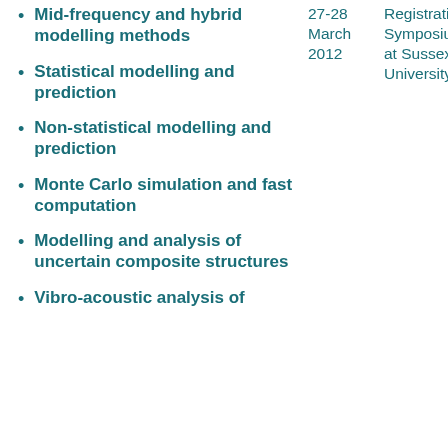Mid-frequency and hybrid modelling methods
Statistical modelling and prediction
Non-statistical modelling and prediction
Monte Carlo simulation and fast computation
Modelling and analysis of uncertain composite structures
Vibro-acoustic analysis of
27-28 March 2012   Registration. Symposium at Sussex University